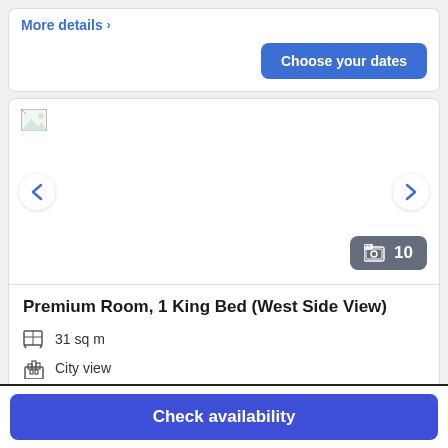More details >
Choose your dates
[Figure (photo): Hotel room photo carousel with broken image placeholder, left/right navigation arrows, and photo count badge showing 10]
Premium Room, 1 King Bed (West Side View)
31 sq m
City view
Sleeps 2
Check availability